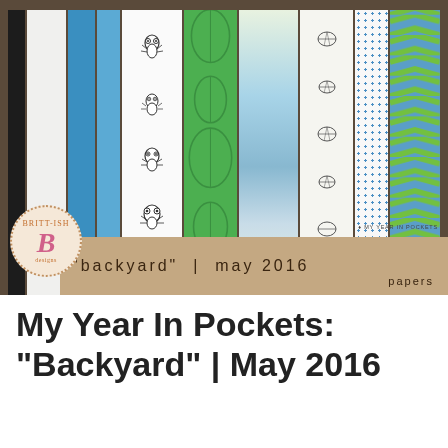[Figure (illustration): Product image showing scrapbooking paper kit titled 'backyard | may 2016 papers' with multiple decorative paper strips featuring bugs, leaves, chevrons, dots, sky patterns in blue, green, and white colors. Includes Britt-ish Designs logo circle.]
My Year In Pockets: "Backyard" | May 2016